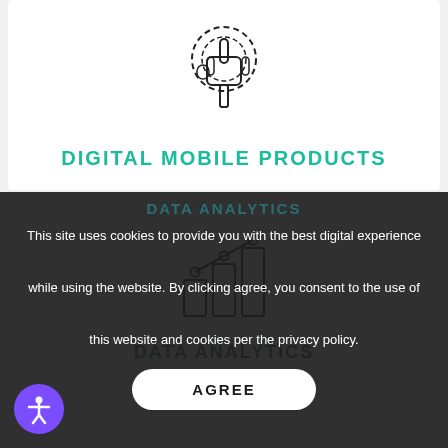[Figure (illustration): Hand touching/clicking icon with dashed circular ripple effect]
DIGITAL MOBILE PRODUCTS
[Figure (illustration): Bar chart with line graph overlay icon representing data analytics]
DATA ANALYTICS
This site uses cookies to provide you with the best digital experience while using the website. By clicking agree, you consent to the use of this website and cookies per the privacy policy.
AGREE